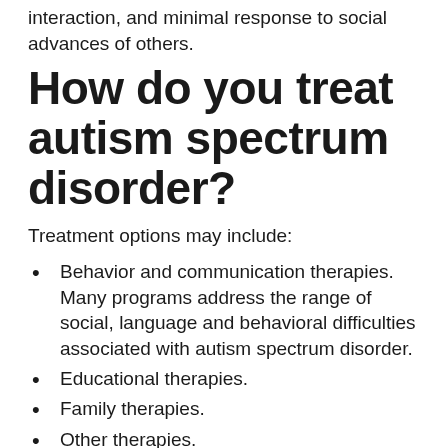interaction, and minimal response to social advances of others.
How do you treat autism spectrum disorder?
Treatment options may include:
Behavior and communication therapies. Many programs address the range of social, language and behavioral difficulties associated with autism spectrum disorder.
Educational therapies.
Family therapies.
Other therapies.
Medications.